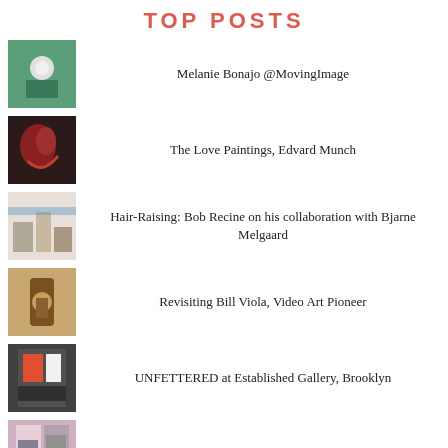TOP POSTS
Melanie Bonajo @MovingImage
The Love Paintings, Edvard Munch
Hair-Raising: Bob Recine on his collaboration with Bjarne Melgaard
Revisiting Bill Viola, Video Art Pioneer
UNFETTERED at Established Gallery, Brooklyn
THE RAVEN: Todd Schroeder
Top Picks, NADA, NY, 2016
Martin Creed, The Back Door